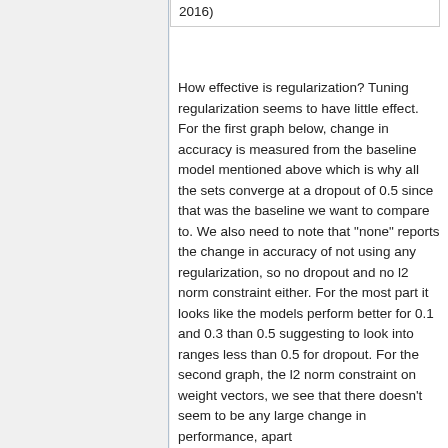2016)
How effective is regularization? Tuning regularization seems to have little effect. For the first graph below, change in accuracy is measured from the baseline model mentioned above which is why all the sets converge at a dropout of 0.5 since that was the baseline we want to compare to. We also need to note that "none" reports the change in accuracy of not using any regularization, so no dropout and no l2 norm constraint either. For the most part it looks like the models perform better for 0.1 and 0.3 than 0.5 suggesting to look into ranges less than 0.5 for dropout. For the second graph, the l2 norm constraint on weight vectors, we see that there doesn't seem to be any large change in performance, apart